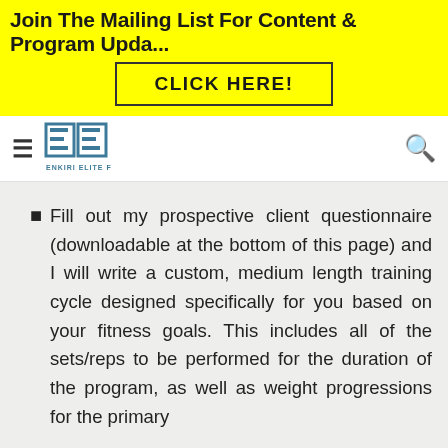Join The Mailing List For Content & Program Upda...
CLICK HERE!
[Figure (logo): Enkiri Elite Fitness logo — double E monogram with brand name below]
Fill out my prospective client questionnaire (downloadable at the bottom of this page) and I will write a custom, medium length training cycle designed specifically for you based on your fitness goals. This includes all of the sets/reps to be performed for the duration of the program, as well as weight progressions for the primary